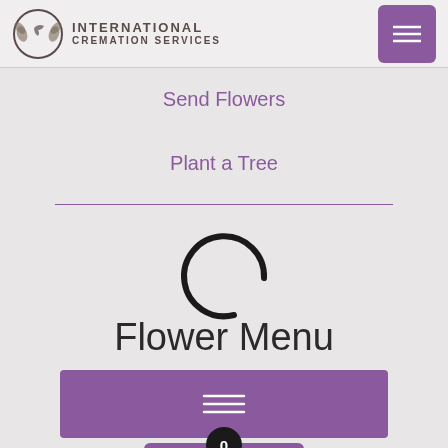[Figure (logo): International Cremation Services logo with dove and laurel wreath emblem and text]
[Figure (screenshot): Purple hamburger menu button in top right corner]
Send Flowers
Plant a Tree
[Figure (other): Loading spinner (letter C shape) above Flower Menu title]
Flower Menu
[Figure (other): Purple wide button with hamburger menu icon (three lines)]
[Figure (other): Purple cart area with black circle badge showing number 0]